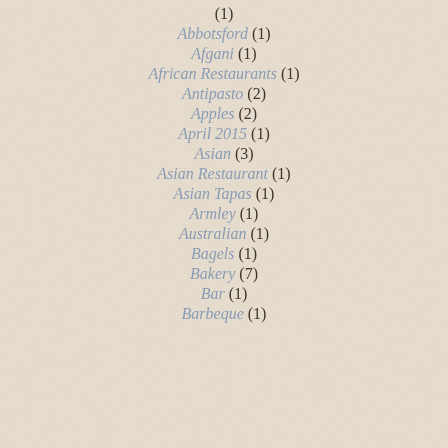(1)
Abbotsford (1)
Afgani (1)
African Restaurants (1)
Antipasto (2)
Apples (2)
April 2015 (1)
Asian (3)
Asian Restaurant (1)
Asian Tapas (1)
Armley (1)
Australian (1)
Bagels (1)
Bakery (7)
Bar (1)
Barbeque (1)